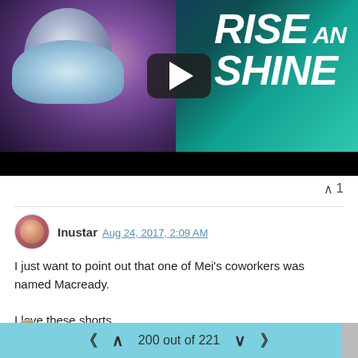[Figure (screenshot): Video thumbnail for 'Rise and Shine' showing an animated character in winter gear with a play button overlay. Teal/blue background with northern lights.]
Inustar Aug 24, 2017, 2:09 AM
I just want to point out that one of Mei's coworkers was named Macready.

I love these shorts.
1 Reply > ∧ 0
∧∧ ∧ 200 out of 221 ∨ ∨∨